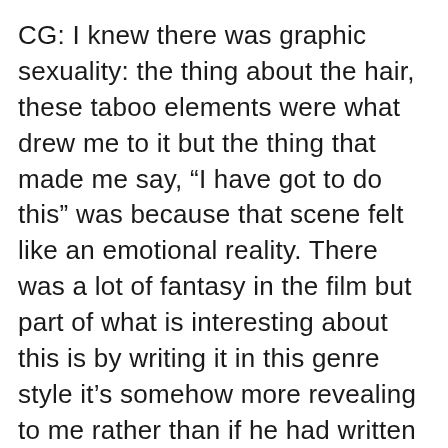CG: I knew there was graphic sexuality: the thing about the hair, these taboo elements were what drew me to it but the thing that made me say, “I have got to do this” was because that scene felt like an emotional reality. There was a lot of fantasy in the film but part of what is interesting about this is by writing it in this genre style it’s somehow more revealing to me rather than if he had written it as a strict autobiography. It draws you in in some way and then you start realizing there is something really going on here that you can understand clearly.